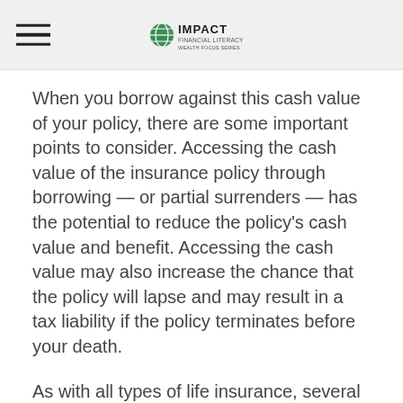Impact Financial
When you borrow against this cash value of your policy, there are some important points to consider. Accessing the cash value of the insurance policy through borrowing — or partial surrenders — has the potential to reduce the policy's cash value and benefit. Accessing the cash value may also increase the chance that the policy will lapse and may result in a tax liability if the policy terminates before your death.
As with all types of life insurance, several factors will affect the cost and availability of whole life insurance, including age, health, and the type and amount of insurance purchased. Life insurance policies have expenses, including mortality and other charges.